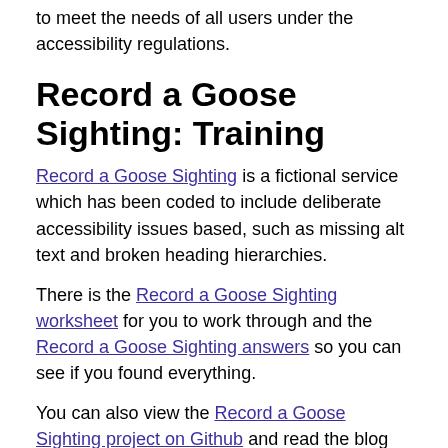to meet the needs of all users under the accessibility regulations.
Record a Goose Sighting: Training
Record a Goose Sighting is a fictional service which has been coded to include deliberate accessibility issues based, such as missing alt text and broken heading hierarchies.
There is the Record a Goose Sighting worksheet for you to work through and the Record a Goose Sighting answers so you can see if you found everything.
You can also view the Record a Goose Sighting project on Github and read the blog post training people to do accessibility reviews to understand more about the project.
Service Manual
The GOV.UK Service Manual is the main guidance for any service team. It covers every aspect of designing and